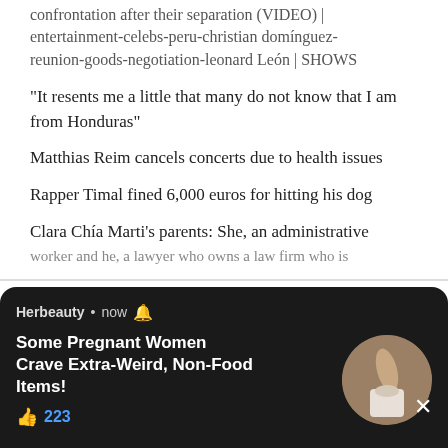confrontation after their separation (VIDEO) | entertainment-celebs-peru-christian domínguez-reunion-goods-negotiation-leonard León | SHOWS
“It resents me a little that many do not know that I am from Honduras”
Matthias Reim cancels concerts due to health issues
Rapper Timal fined 6,000 euros for hitting his dog
Clara Chía Marti’s parents: She, an administrative worker and he, a lawyer who owns a law firm who is
We use cookies on our website to give you the most relevant experience by remembering your preferences and repeat visits. By clicking “Accept All” Ho pro
[Figure (screenshot): Push notification overlay from Herbeauty: 'Some Pregnant Women Crave Extra-Weird, Non-Food Items!' with 223 likes, shown on dark background with circular thumbnail image and close button.]